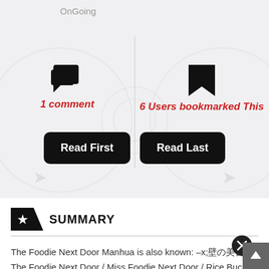OnGoing
1 comment
6 Users bookmarked This
Read First
Read Last
SUMMARY
The Foodie Next Door Manhua is also known: 隔壁的美食家 / The Foodie Next Door / Miss Foodie Next Door / Rice Bucket Nex…